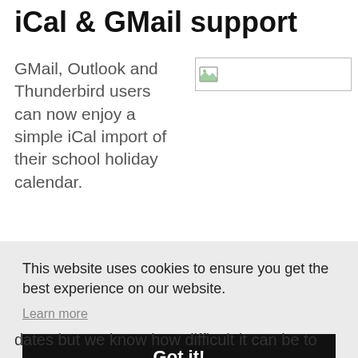iCal & GMail support
GMail, Outlook and Thunderbird users can now enjoy a simple iCal import of their school holiday calendar.
[Figure (other): Broken image placeholder icon in a bordered rectangle]
This website uses cookies to ensure you get the best experience on our website.
Learn more
Got it!
dates but we know how difficult it can be to